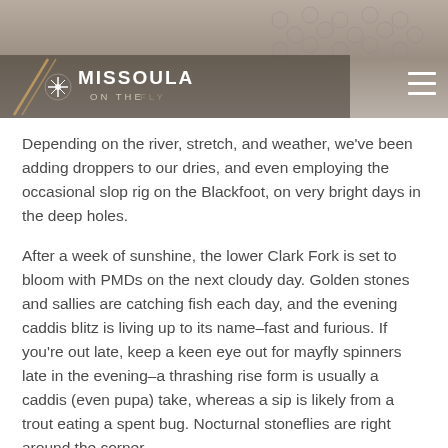[Figure (screenshot): Website header showing Missoula On The Fly logo with navigation hamburger menu on dark/grey background with textured photo behind]
Depending on the river, stretch, and weather, we've been adding droppers to our dries, and even employing the occasional slop rig on the Blackfoot, on very bright days in the deep holes.
After a week of sunshine, the lower Clark Fork is set to bloom with PMDs on the next cloudy day. Golden stones and sallies are catching fish each day, and the evening caddis blitz is living up to its name–fast and furious. If you're out late, keep a keen eye out for mayfly spinners late in the evening–a thrashing rise form is usually a caddis (even pupa) take, whereas a sip is likely from a trout eating a spent bug. Nocturnal stoneflies are right around the corner.
Of all our area rivers, the Bitterroot, particularly its